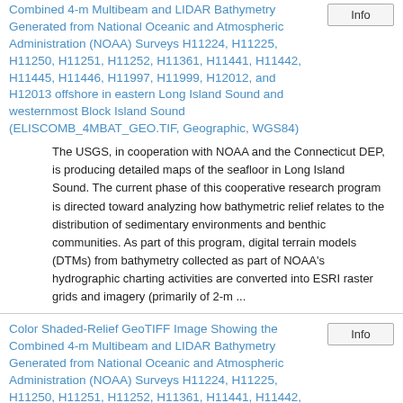Combined 4-m Multibeam and LIDAR Bathymetry Generated from National Oceanic and Atmospheric Administration (NOAA) Surveys H11224, H11225, H11250, H11251, H11252, H11361, H11441, H11442, H11445, H11446, H11997, H11999, H12012, and H12013 offshore in eastern Long Island Sound and westernmost Block Island Sound (ELISCOMB_4MBAT_GEO.TIF, Geographic, WGS84)
The USGS, in cooperation with NOAA and the Connecticut DEP, is producing detailed maps of the seafloor in Long Island Sound. The current phase of this cooperative research program is directed toward analyzing how bathymetric relief relates to the distribution of sedimentary environments and benthic communities. As part of this program, digital terrain models (DTMs) from bathymetry collected as part of NOAA's hydrographic charting activities are converted into ESRI raster grids and imagery (primarily of 2-m ...
Color Shaded-Relief GeoTIFF Image Showing the Combined 4-m Multibeam and LIDAR Bathymetry Generated from National Oceanic and Atmospheric Administration (NOAA) Surveys H11224, H11225, H11250, H11251, H11252, H11361, H11441, H11442, H11445, H11446, H11997, H11999, H12012, and